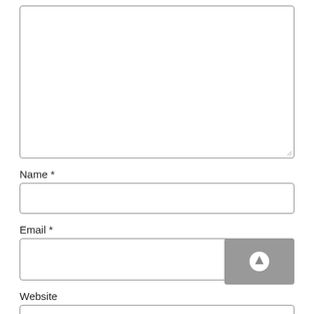[Figure (screenshot): A large empty textarea form field with a resize handle in the bottom-right corner]
Name *
[Figure (screenshot): An empty text input field for Name]
Email *
[Figure (screenshot): An empty text input field for Email with a grey submit button containing an up-arrow icon overlaid on the right side]
Website
[Figure (screenshot): An empty text input field for Website, partially visible at the bottom]